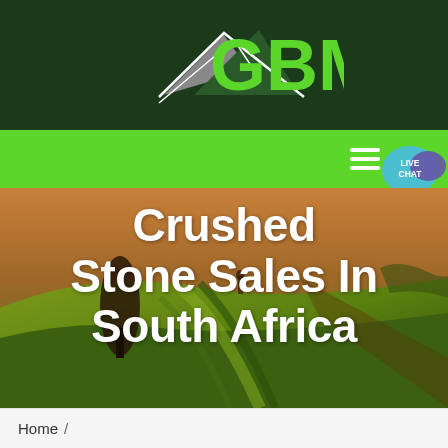[Figure (logo): GBM company logo with mountain/arrow graphic on dark green background]
[Figure (screenshot): Green navigation bar with hamburger menu icon and Live Chat bubble]
[Figure (photo): Aerial photo of farmland with curved field rows, warm green and orange tones, with a dark tree silhouette]
Crushed Stone Sales In South Africa
Home /